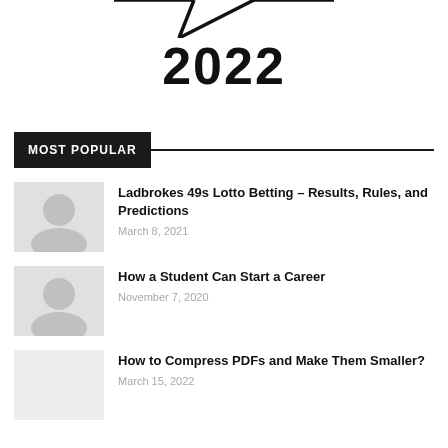[Figure (illustration): Speech bubble tail graphic at top, partial view, with large bold year text '2022' below]
2022
MOST POPULAR
Ladbrokes 49s Lotto Betting – Results, Rules, and Predictions
March 8, 2021
How a Student Can Start a Career
November 7, 2020
How to Compress PDFs and Make Them Smaller?
March 15, 2022